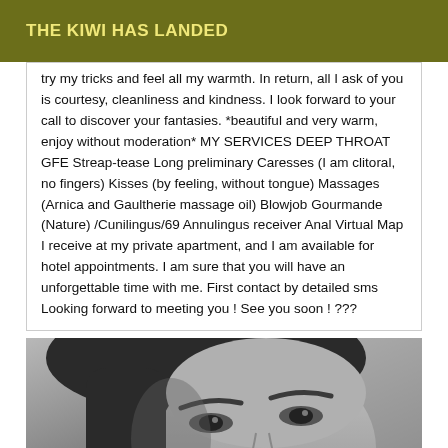THE KIWI HAS LANDED
try my tricks and feel all my warmth. In return, all I ask of you is courtesy, cleanliness and kindness. I look forward to your call to discover your fantasies. *beautiful and very warm, enjoy without moderation* MY SERVICES DEEP THROAT GFE Streap-tease Long preliminary Caresses (I am clitoral, no fingers) Kisses (by feeling, without tongue) Massages (Arnica and Gaultherie massage oil) Blowjob Gourmande (Nature) /Cunilingus/69 Annulingus receiver Anal Virtual Map I receive at my private apartment, and I am available for hotel appointments. I am sure that you will have an unforgettable time with me. First contact by detailed sms Looking forward to meeting you ! See you soon ! ???
[Figure (photo): Black and white close-up photo of a woman's face, showing eyes, nose and partial forehead]